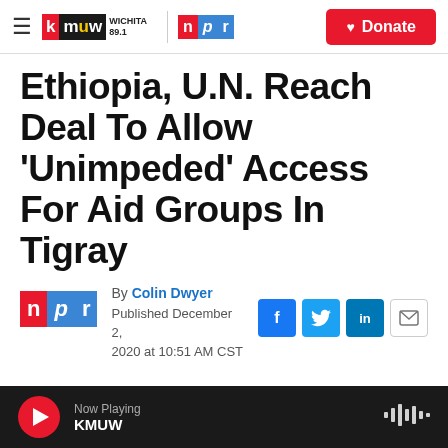KMUW WICHITA 89.1 | NPR | Donate
Ethiopia, U.N. Reach Deal To Allow 'Unimpeded' Access For Aid Groups In Tigray
By Colin Dwyer
Published December 2, 2020 at 10:51 AM CST
Now Playing KMUW